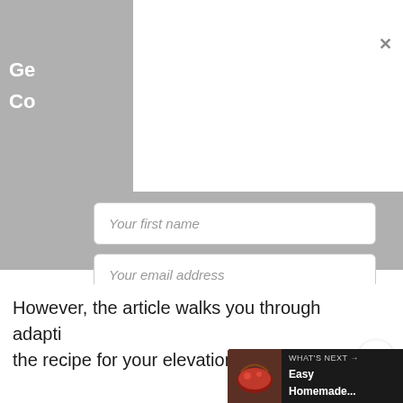Ge
Co
Your first name
Your email address
DOWNLOAD
However, the article walks you through adapting the recipe for your elevation.
WHAT'S NEXT → Easy Homemade...